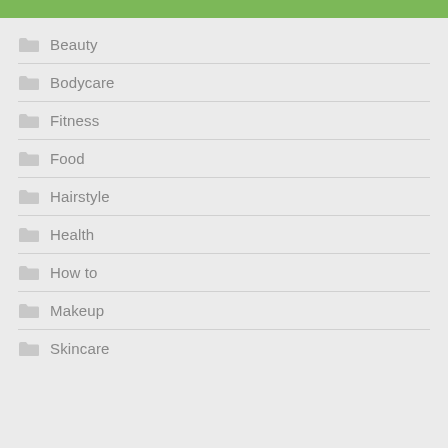Beauty
Bodycare
Fitness
Food
Hairstyle
Health
How to
Makeup
Skincare